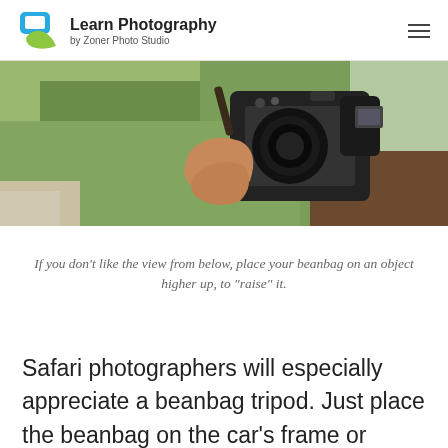Learn Photography by Zoner Photo Studio
[Figure (photo): Overhead view of a photographer holding a DSLR camera, with grass and a wooden surface visible below]
If you don't like the view from below, place your beanbag on an object higher up, to “raise” it.
Safari photographers will especially appreciate a beanbag tripod. Just place the beanbag on the car’s frame or window, and place the heavy camera on top of that. This gives you good stability and keeps your arms from